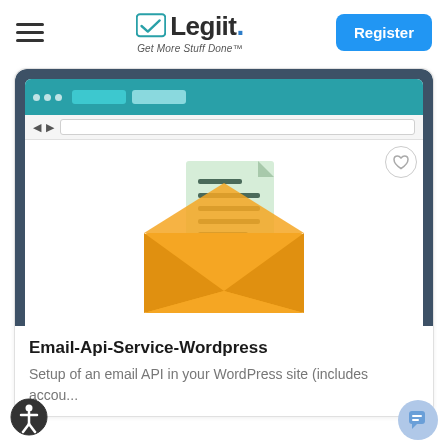Legiit - Get More Stuff Done
[Figure (illustration): Browser window mockup with an open envelope illustration containing a document with lines of text, on a dark teal/slate background]
Email-Api-Service-Wordpress
Setup of an email API in your WordPress site (includes accou...